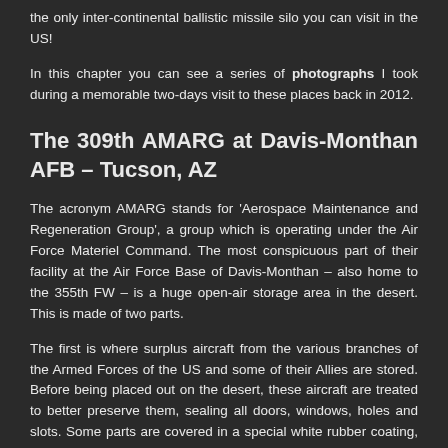the only inter-continental ballistic missile silo you can visit in the US!
In this chapter you can see a series of photographs I took during a memorable two-days visit to these places back in 2012.
The 309th AMARG at Davis-Monthan AFB – Tucson, AZ
The acronym AMARG stands for 'Aerospace Maintenance and Regeneration Group', a group which is operating under the Air Force Materiel Command. The most conspicuous part of their facility at the Air Force Base of Davis-Monthan – also home to the 355th FW – is a huge open-air storage area in the desert. This is made of two parts.
The first is where surplus aircraft from the various branches of the Armed Forces of the US and some of their Allies are stored. Before being placed out on the desert, these aircraft are treated to better preserve them, sealing all doors, windows, holes and slots. Some parts are covered in a special white rubber coating, to protect them from direct sunlight exposure. The process can